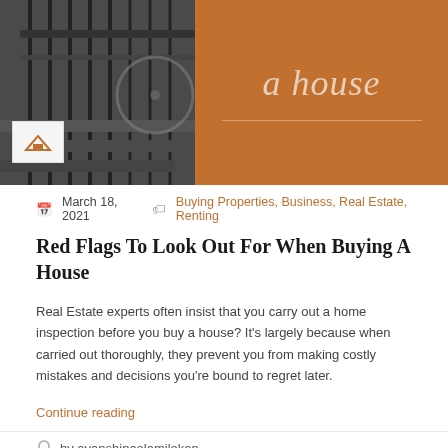[Figure (photo): Blog post header image: left half shows a dark photo of iron railings and stairs with a small house logo box overlay; right half is an orange/brown banner with italic text 'a house' and a horizontal divider line below it.]
March 18, 2021   Buying Properties, Business, Real Estate, Renting
Red Flags To Look Out For When Buying A House
Real Estate experts often insist that you carry out a home inspection before you buy a house? It's largely because when carried out thoroughly, they prevent you from making costly mistakes and decisions you're bound to regret later.
Continue reading
by ayanshinaolamilekan
Join The Discussion